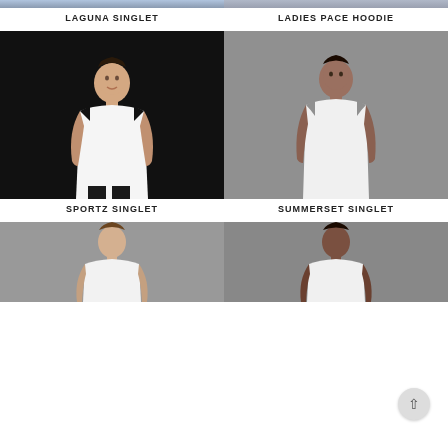[Figure (photo): Top of page, left: partial photo of person wearing Laguna Singlet]
LAGUNA SINGLET
[Figure (photo): Top of page, right: partial photo of person wearing Ladies Pace Hoodie]
LADIES PACE HOODIE
[Figure (photo): Middle left: man in white singlet on dark background - Sportz Singlet]
SPORTZ SINGLET
[Figure (photo): Middle right: man in white singlet on grey background - Summerset Singlet]
SUMMERSET SINGLET
[Figure (photo): Bottom left: partial photo of man in white singlet on grey background]
[Figure (photo): Bottom right: partial photo of man on grey background]